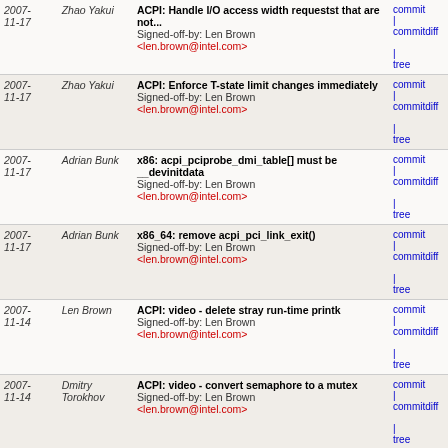| Date | Author | Commit Message | Links |
| --- | --- | --- | --- |
| 2007-11-17 | Zhao Yakui | ACPI: Handle I/O access width requestst that are not...
Signed-off-by: Len Brown <len.brown@intel.com> | commit | commitdiff | tree |
| 2007-11-17 | Zhao Yakui | ACPI: Enforce T-state limit changes immediately
Signed-off-by: Len Brown <len.brown@intel.com> | commit | commitdiff | tree |
| 2007-11-17 | Adrian Bunk | x86: acpi_pciprobe_dmi_table[] must be __devinitdata
Signed-off-by: Len Brown <len.brown@intel.com> | commit | commitdiff | tree |
| 2007-11-17 | Adrian Bunk | x86_64: remove acpi_pci_link_exit()
Signed-off-by: Len Brown <len.brown@intel.com> | commit | commitdiff | tree |
| 2007-11-14 | Len Brown | ACPI: video - delete stray run-time printk
Signed-off-by: Len Brown <len.brown@intel.com> | commit | commitdiff | tree |
| 2007-11-14 | Dmitry Torokhov | ACPI: video - convert semaphore to a mutex
Signed-off-by: Len Brown <len.brown@intel.com> | commit | commitdiff | tree |
| 2007-11-14 | Dmitry Torokhov | ACPI: video - remove unsafe uses of list_for_each_safe()
Signed-off-by: Len Brown <len.brown@intel.com> | commit | commitdiff | tree |
| 2007-11-14 | Dmitry Torokhov | ACPI: video - add missing input_free_device() | commit | commitdiff | tree |